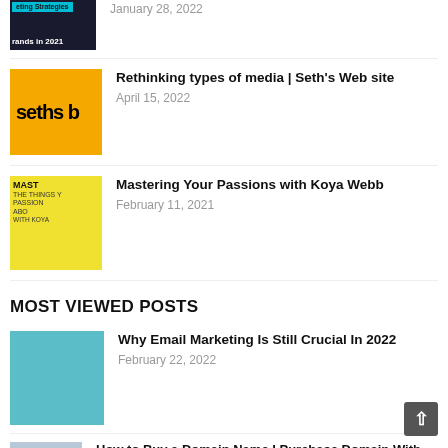Rethinking types of media | Seth's Web site — April 15, 2022
Mastering Your Passions with Koya Webb — February 11, 2021
MOST VIEWED POSTS
Why Email Marketing Is Still Crucial In 2022 — February 22, 2022
How to Buy a Domain Name I Purchase Domain With GoDaddy Step by Step I Domain Starting at 99 INR — February 18, 2022